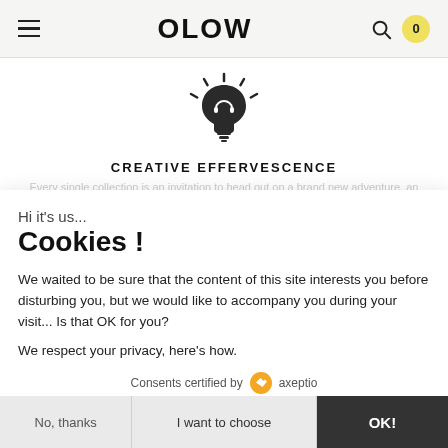OLOW
[Figure (logo): Lightbulb icon with headphones symbol inside, radiating lines suggesting illumination]
CREATIVE EFFERVESCENCE
Every single collection is an invitation to head out on a brand new adventure, an all at once artistic, human, refreshing and offbeat one.
Hi it's us...
Cookies !
We waited to be sure that the content of this site interests you before disturbing you, but we would like to accompany you during your visit... Is that OK for you?
We respect your privacy, here's how.
Consents certified by axeptio
No, thanks
I want to choose
OK!